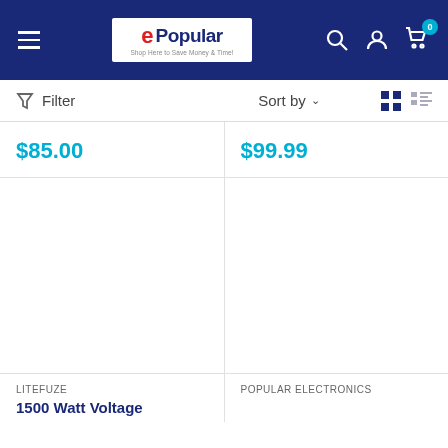Popular Electronics — Navigation header with hamburger menu, logo, search, account, and cart (0 items)
Filter   Sort by   [grid view] [list view]
$85.00
$99.99
LITEFUZE
1500 Watt Voltage
POPULAR ELECTRONICS